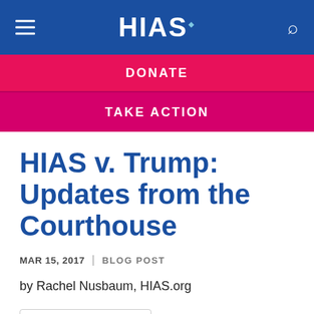[Figure (screenshot): HIAS website navigation bar with hamburger menu icon on the left, HIAS logo in the center, and search icon on the right, on a blue background]
[Figure (screenshot): Pink/magenta DONATE button bar]
[Figure (screenshot): Dark magenta TAKE ACTION button bar]
HIAS v. Trump: Updates from the Courthouse
MAR 15, 2017  |  BLOG POST
by Rachel Nusbaum, HIAS.org
[Figure (screenshot): Google Translate widget with G logo, 'Select Language' text, and a dropdown arrow]